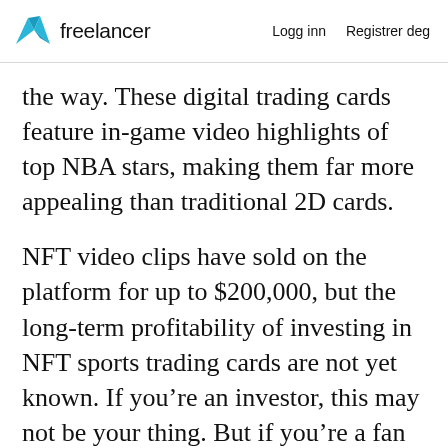freelancer   Logg inn   Registrer deg
the way. These digital trading cards feature in-game video highlights of top NBA stars, making them far more appealing than traditional 2D cards.
NFT video clips have sold on the platform for up to $200,000, but the long-term profitability of investing in NFT sports trading cards are not yet known. If you’re an investor, this may not be your thing. But if you’re a fan of NBA and trading cards, NBA Top Shot is for you.